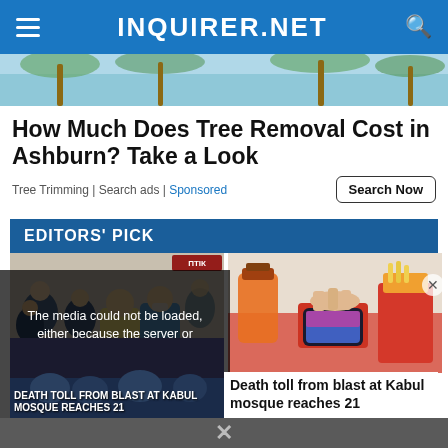INQUIRER.NET
[Figure (photo): Palm trees background hero image]
How Much Does Tree Removal Cost in Ashburn? Take a Look
Tree Trimming | Search ads | Sponsored
EDITORS' PICK
[Figure (photo): Vaccination scene with people in masks and a healthcare worker in blue PPE giving an injection]
[Figure (photo): Hand tapping a phone on a payment terminal next to fast food fries]
The media could not be loaded, either because the server or network failed or because the format is not supported.
Death toll from blast at Kabul mosque reaches 21